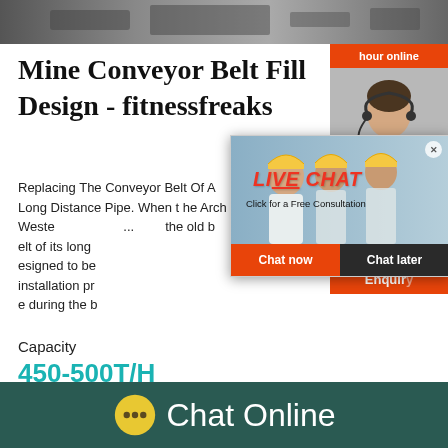[Figure (photo): Top banner image showing conveyor belt equipment in a mine or industrial setting]
Mine Conveyor Belt Fill Design - fitnessfreaks
Replacing The Conveyor Belt Of A Long Distance Pipe. When the Arch Western Coal Sho... Mine had to replace the old belt of its long ... designed to be ... installation pr... e during the b...
Capacity
450-500T/H
Reviews
[Figure (screenshot): Live Chat popup overlay with workers photo background, LIVE CHAT heading in red italic, 'Click for a Free Consultation' subtitle, Chat now and Chat later buttons]
[Figure (photo): Right sidebar showing agent/customer service representative with headset, hour online orange bar, Click to chat button, and Enquiry bar]
[Figure (infographic): Bottom teal footer bar with yellow chat bubble icon and 'Chat Online' text in white]